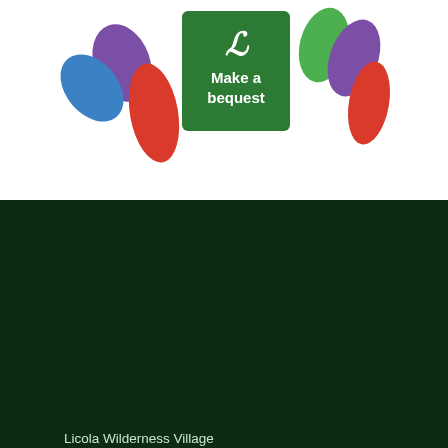[Figure (logo): Make a bequest logo with green background showing a stylized 'L' and colorful heart/teardrop shapes in blue, red, green, and purple on either side, with text 'Make a bequest' in white]
Licola Wilderness Village
Jamieson Road, Licola, Victoria
Owned and operated by the Lions Clubs of Victoria and Southern New South Wales
[Figure (logo): Social media icons: Facebook circle icon, Instagram icon, TripAdvisor owl icon — all outlined in green on dark green background]
Tel: 03 5148 8791
Email: camping@licola.org.au